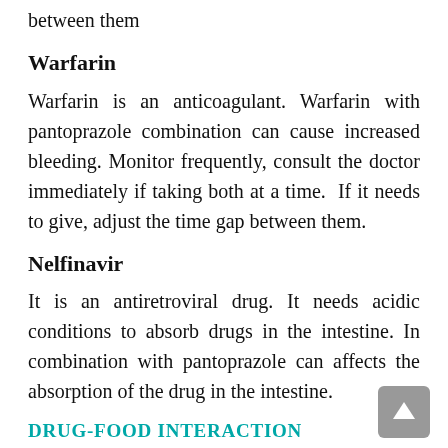between them
Warfarin
Warfarin is an anticoagulant. Warfarin with pantoprazole combination can cause increased bleeding. Monitor frequently, consult the doctor immediately if taking both at a time.  If it needs to give, adjust the time gap between them.
Nelfinavir
It is an antiretroviral drug. It needs acidic conditions to absorb drugs in the intestine. In combination with pantoprazole can affects the absorption of the drug in the intestine.
DRUG-FOOD INTERACTION
It should not.....  It is